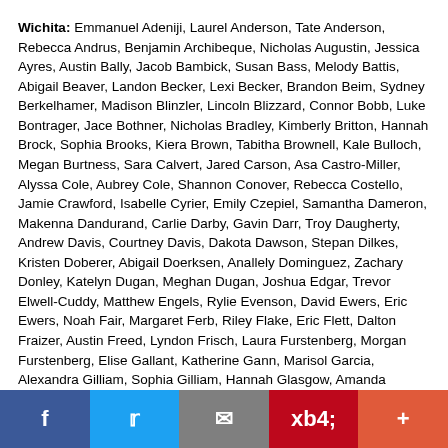Wichita: Emmanuel Adeniji, Laurel Anderson, Tate Anderson, Rebecca Andrus, Benjamin Archibeque, Nicholas Augustin, Jessica Ayres, Austin Bally, Jacob Bambick, Susan Bass, Melody Battis, Abigail Beaver, Landon Becker, Lexi Becker, Brandon Beim, Sydney Berkelhamer, Madison Blinzler, Lincoln Blizzard, Connor Bobb, Luke Bontrager, Jace Bothner, Nicholas Bradley, Kimberly Britton, Hannah Brock, Sophia Brooks, Kiera Brown, Tabitha Brownell, Kale Bulloch, Megan Burtness, Sara Calvert, Jared Carson, Asa Castro-Miller, Alyssa Cole, Aubrey Cole, Shannon Conover, Rebecca Costello, Jamie Crawford, Isabelle Cyrier, Emily Czepiel, Samantha Dameron, Makenna Dandurand, Carlie Darby, Gavin Darr, Troy Daugherty, Andrew Davis, Courtney Davis, Dakota Dawson, Stepan Dilkes, Kristen Doberer, Abigail Doerksen, Anallely Dominguez, Zachary Donley, Katelyn Dugan, Meghan Dugan, Joshua Edgar, Trevor Elwell-Cuddy, Matthew Engels, Rylie Evenson, David Ewers, Eric Ewers, Noah Fair, Margaret Ferb, Riley Flake, Eric Flett, Dalton Fraizer, Austin Freed, Lyndon Frisch, Laura Furstenberg, Morgan Furstenberg, Elise Gallant, Katherine Gann, Marisol Garcia, Alexandra Gilliam, Sophia Gilliam, Hannah Glasgow, Amanda Goebel, Kathlyn Gomendoza, Erina Gonio, Angelina Gonzalez, Kristen Graves, Molly Green, Hannah Greer, Sara Greer, Megan Griffith, Emmalie Gulledge, Kennedy Hackerott, Daria Hagan, James Hamilton, Brianna Hammond, Kyle Hampel, Jenna